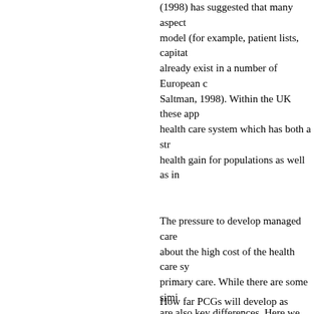(1998) has suggested that many aspects of the model (for example, patient lists, capitation) already exist in a number of European countries (Saltman, 1998). Within the UK these approaches health care system which has both a strong health gain for populations as well as individual...
The pressure to develop managed care about the high cost of the health care system primary care. While there are some similarities are also key differences. Here we have a control is an issue, the UK has not experienced health care costs. General practices in the practice lists and part capitated funding between practices for patients and, particularly more closely with health authority commissioning owes much to the experience of GP fundholding derivatives such as multi-funds and total Labour Government's need to find acceptable the basic elements of GP led purchasing...
How far PCGs will develop as integrated unclear. Their developmental nature, set move from advisory committee to independent...